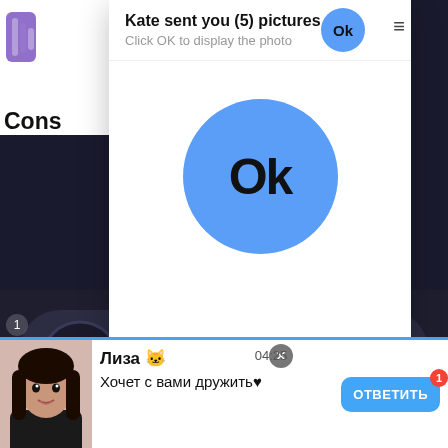[Figure (screenshot): White popup dialog showing 'Kate sent you (5) pictures' with 'Click OK to display the photo' subtitle, a blue OK button in top right, hamburger menu icon, and a large blue circle with 'Ok' text in center. Behind it is a gaming handheld device (Apple-branded) showing a game ad with 'Ads by Clickadilla' and 'Skip in 5 seconds x' overlay. A timer badge shows '00:1'. Bottom notification bar shows 'Лиза' user wanting to friend with ОТВЕТИТЬ button.]
Kate sent you (5) pictures
Click OK to display the photo
Ok
00:1
9pj
Ads by Clickadilla
Skip in 5 seconds ×
Лиза 🐱
Хочет с вами дружить♥
04:25
ОТВЕТИТЬ